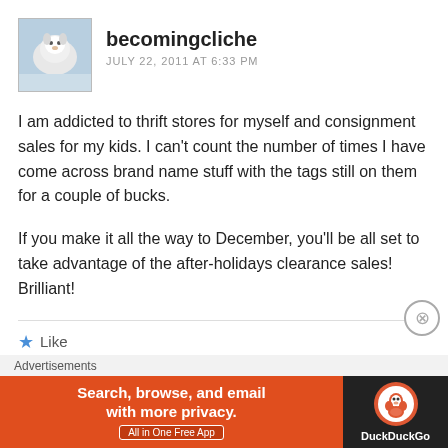[Figure (photo): Avatar photo of a white fluffy snowman or dog in snow]
becomingcliche
JULY 22, 2011 AT 6:33 PM
I am addicted to thrift stores for myself and consignment sales for my kids. I can't count the number of times I have come across brand name stuff with the tags still on them for a couple of bucks.
If you make it all the way to December, you'll be all set to take advantage of the after-holidays clearance sales! Brilliant!
★ Like
Advertisements
[Figure (screenshot): DuckDuckGo advertisement banner: Search, browse, and email with more privacy. All in One Free App. DuckDuckGo logo on dark background.]